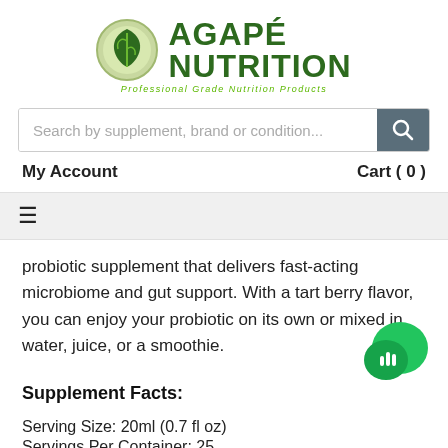[Figure (logo): Agapé Nutrition logo with green leaf icon and text 'AGAPÉ NUTRITION – Professional Grade Nutrition Products']
Search by supplement, brand or condition...
My Account
Cart ( 0 )
≡
probiotic supplement that delivers fast-acting microbiome and gut support. With a tart berry flavor, you can enjoy your probiotic on its own or mixed in water, juice, or a smoothie.
Supplement Facts:
Serving Size: 20ml (0.7 fl oz)
Servings Per Container: 25
[Figure (illustration): Green chat/audio bubble icon in bottom right corner]